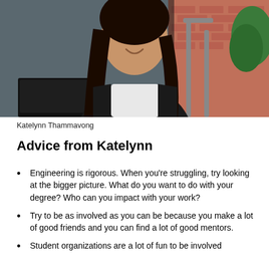[Figure (photo): Young woman with long dark hair wearing a black blazer and white top, smiling outdoors near brick building with stairs and trees in background]
Katelynn Thammavong
Advice from Katelynn
Engineering is rigorous. When you're struggling, try looking at the bigger picture. What do you want to do with your degree? Who can you impact with your work?
Try to be as involved as you can be because you make a lot of good friends and you can find a lot of good mentors.
Student organizations are a lot of fun to be involved